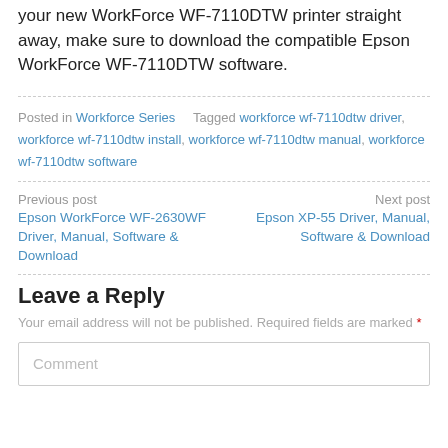your new WorkForce WF-7110DTW printer straight away, make sure to download the compatible Epson WorkForce WF-7110DTW software.
Posted in Workforce Series   Tagged workforce wf-7110dtw driver, workforce wf-7110dtw install, workforce wf-7110dtw manual, workforce wf-7110dtw software
Previous post: Epson WorkForce WF-2630WF Driver, Manual, Software & Download | Next post: Epson XP-55 Driver, Manual, Software & Download
Leave a Reply
Your email address will not be published. Required fields are marked *
Comment